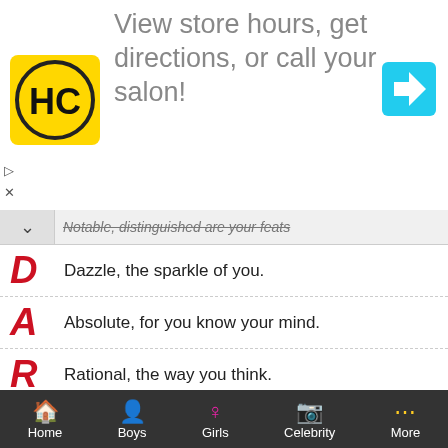[Figure (screenshot): Advertisement banner for HC salon app with logo and navigation icon, with close/dismiss controls]
Notable, distinguished are your feats (partial, struck-through)
D — Dazzle, the sparkle of you.
A — Absolute, for you know your mind.
R — Rational, the way you think.
Chandar Ethnicity Distribution.
| Ethnicity | Chandar | U.S |
| --- | --- | --- |
| White | 0.00% | 64.26% |
| African American | 0.00% | 11.96% |
Home  Boys  Girls  Celebrity  More